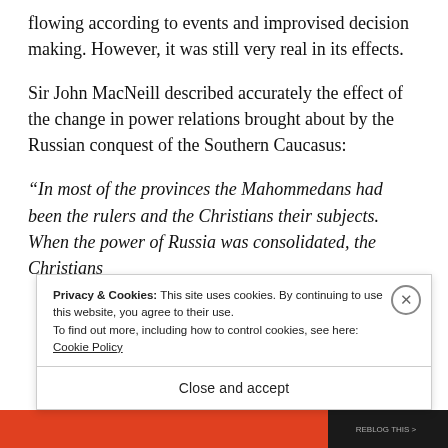flowing according to events and improvised decision making. However, it was still very real in its effects.
Sir John MacNeill described accurately the effect of the change in power relations brought about by the Russian conquest of the Southern Caucasus:
“In most of the provinces the Mahommedans had been the rulers and the Christians their subjects. When the power of Russia was consolidated, the Christians
Privacy & Cookies: This site uses cookies. By continuing to use this website, you agree to their use.
To find out more, including how to control cookies, see here: Cookie Policy
Close and accept